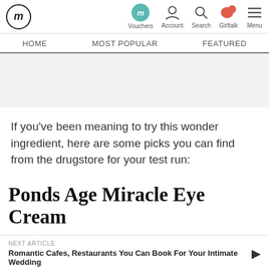fm | Vouchers | Account | Search | Girltalk | Menu
HOME | MOST POPULAR | FEATURED
[Figure (other): Gray advertisement placeholder area]
If you've been meaning to try this wonder ingredient, here are some picks you can find from the drugstore for your test run:
Ponds Age Miracle Eye Cream
NEXT ARTICLE
Romantic Cafes, Restaurants You Can Book For Your Intimate Wedding